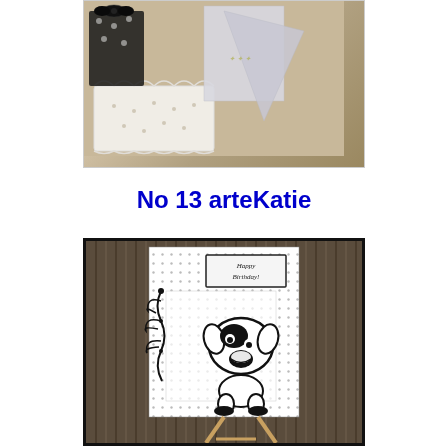[Figure (photo): Craft supplies photo showing a doily, black and white bow, silver triangle, dark floral paper on a beige/cream background]
No 13 arteKatie
[Figure (photo): A black and white handmade birthday card featuring a cartoon dog, Happy Birthday text box, decorative ornament flourish, displayed on a small wooden easel against a brown corduroy background]